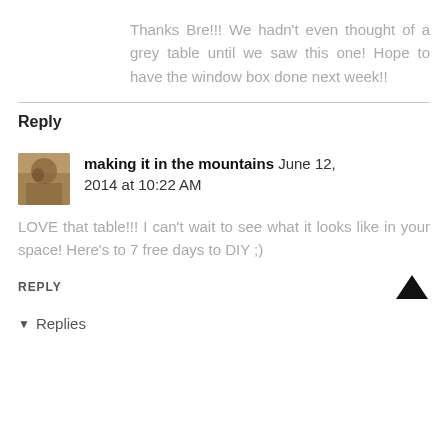Thanks Bre!!! We hadn't even thought of a grey table until we saw this one! Hope to have the window box done next week!!
Reply
making it in the mountains June 12, 2014 at 10:22 AM
LOVE that table!!! I can't wait to see what it looks like in your space! Here's to 7 free days to DIY ;)
REPLY
Replies